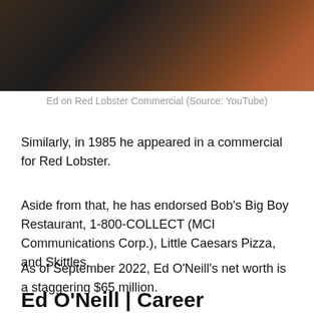[Figure (photo): A screenshot of a video showing a person at what appears to be a restaurant table, likely a Red Lobster commercial still frame.]
Ed on Red Lobster Commercial (Source: YouTube)
Similarly, in 1985 he appeared in a commercial for Red Lobster.
Aside from that, he has endorsed Bob's Big Boy Restaurant, 1-800-COLLECT (MCI Communications Corp.), Little Caesars Pizza, and Skittles.
As of September 2022, Ed O'Neill's net worth is a staggering $65 million.
Ed O'Neill | Career